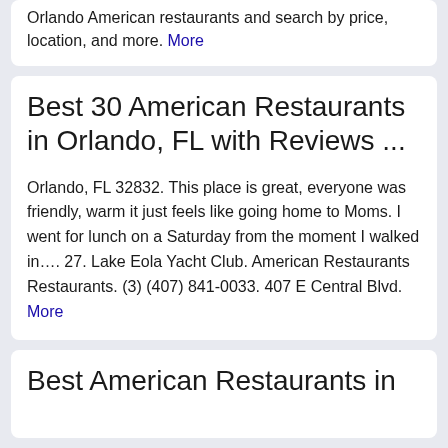Orlando American restaurants and search by price, location, and more. More
Best 30 American Restaurants in Orlando, FL with Reviews ...
Orlando, FL 32832. This place is great, everyone was friendly, warm it just feels like going home to Moms. I went for lunch on a Saturday from the moment I walked in…. 27. Lake Eola Yacht Club. American Restaurants Restaurants. (3) (407) 841-0033. 407 E Central Blvd. More
Best American Restaurants in